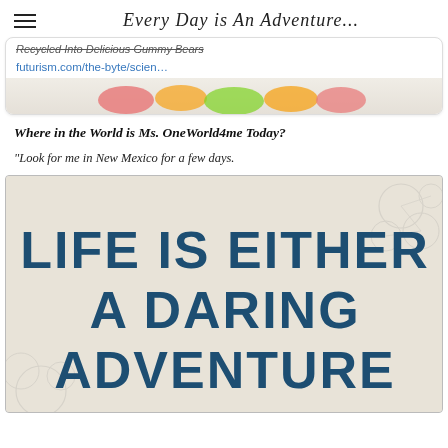Every Day is An Adventure...
[Figure (screenshot): Card with strikethrough title referencing gummy bears article, link futurism.com/the-byte/scien… and partial candy image]
Where in the World is Ms. OneWorld4me Today?
"Look for me in New Mexico for a few days.
[Figure (illustration): Motivational quote image on linen/beige background with dark teal bold text reading LIFE IS EITHER A DARING ADVENTURE and floral decorative elements]